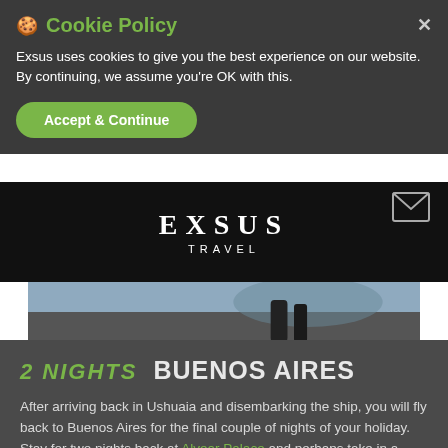🍪 Cookie Policy
Exsus uses cookies to give you the best experience on our website. By continuing, we assume you're OK with this.
Accept & Continue
[Figure (logo): EXSUS TRAVEL logo in white text on black background, with envelope/mail icon on the right]
[Figure (photo): Hero image showing partial view of a person's legs near water, dark tones]
2 NIGHTS   BUENOS AIRES
After arriving back in Ushuaia and disembarking the ship, you will fly back to Buenos Aires for the final couple of nights of your holiday. Stay for two nights back at Alvear Palace and perhaps take in a tango show for a final dose of Argentinean culture.